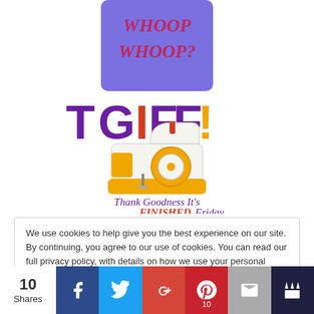[Figure (illustration): Two overlapping images: top portion shows a blue/purple card with red-pink text 'WHOOP WHOOP?' and below it a TGIFF logo with purple/red lettering and a cartoon sewing machine, with text 'Thank Goodness It's FINISHED Friday']
We use cookies to help give you the best experience on our site. By continuing, you agree to our use of cookies. You can read our full privacy policy, with details on how we use your personal data, by clicking on the following link. Privacy and Cookie Policy